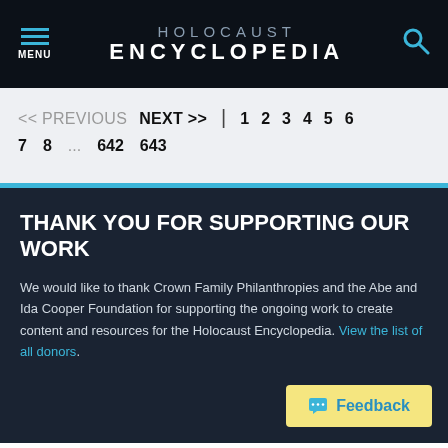HOLOCAUST ENCYCLOPEDIA
<< PREVIOUS  NEXT >>  |  1  2  3  4  5  6  7  8  ...  642  643
THANK YOU FOR SUPPORTING OUR WORK
We would like to thank Crown Family Philanthropies and the Abe and Ida Cooper Foundation for supporting the ongoing work to create content and resources for the Holocaust Encyclopedia. View the list of all donors.